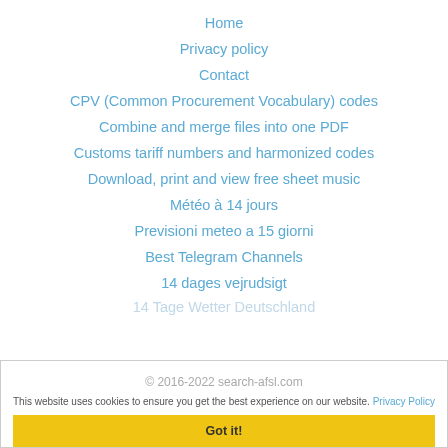Home
Privacy policy
Contact
CPV (Common Procurement Vocabulary) codes
Combine and merge files into one PDF
Customs tariff numbers and harmonized codes
Download, print and view free sheet music
Météo à 14 jours
Previsioni meteo a 15 giorni
Best Telegram Channels
14 dages vejrudsigt
14 Tage Wetter Deutschland
© 2016-2022 search-afsl.com
This website uses cookies to ensure you get the best experience on our website. Privacy Policy
Got it!